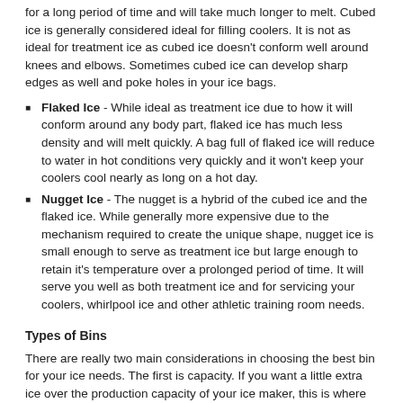for a long period of time and will take much longer to melt. Cubed ice is generally considered ideal for filling coolers. It is not as ideal for treatment ice as cubed ice doesn't conform well around knees and elbows. Sometimes cubed ice can develop sharp edges as well and poke holes in your ice bags.
Flaked Ice - While ideal as treatment ice due to how it will conform around any body part, flaked ice has much less density and will melt quickly. A bag full of flaked ice will reduce to water in hot conditions very quickly and it won't keep your coolers cool nearly as long on a hot day.
Nugget Ice - The nugget is a hybrid of the cubed ice and the flaked ice. While generally more expensive due to the mechanism required to create the unique shape, nugget ice is small enough to serve as treatment ice but large enough to retain it's temperature over a prolonged period of time. It will serve you well as both treatment ice and for servicing your coolers, whirlpool ice and other athletic training room needs.
Types of Bins
There are really two main considerations in choosing the best bin for your ice needs. The first is capacity. If you want a little extra ice over the production capacity of your ice maker, this is where you can add a little more storage. During those slower times your unit will fill to capacity leaving you some extra ice during your heaviest usage periods. Choosing more storage is certainly a less expensive option for increasing your ice capaicty than choosing more production.
The second consideration is the footprint of your ice machine. Bins come in a